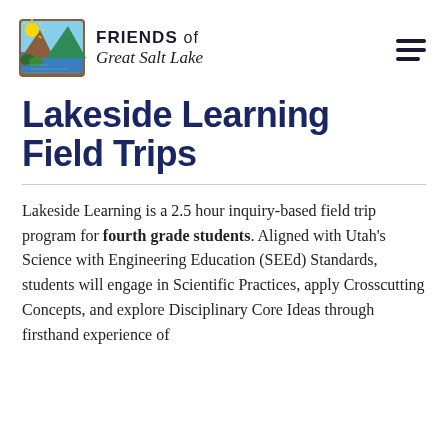[Figure (logo): Friends of Great Salt Lake logo — square illustration showing lake scene with sun, mountains, water, and foliage; next to text 'FRIENDS of Great Salt Lake' in mixed serif/sans-serif]
Lakeside Learning Field Trips
Lakeside Learning is a 2.5 hour inquiry-based field trip program for fourth grade students. Aligned with Utah's Science with Engineering Education (SEEd) Standards, students will engage in Scientific Practices, apply Crosscutting Concepts, and explore Disciplinary Core Ideas through firsthand experience of